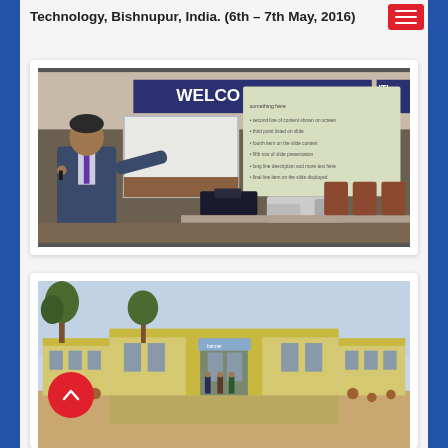Technology, Bishnupur, India. (6th – 7th May, 2016)
[Figure (photo): A man in a suit presenting at a conference room with a whiteboard showing 'WELCO' banner and a projection screen displaying bullet points, with projector and laptop equipment on a table.]
[Figure (photo): Outdoor view of a single-story institutional building complex with a courtyard, trees, and a banner, likely a college or institute campus.]